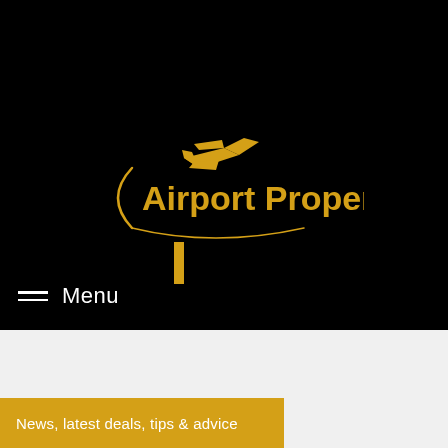[Figure (logo): Airport Property logo on black background: golden airplane icon above text 'Airport Property' in gold with a curved swoosh underline]
Menu
News, latest deals, tips & advice